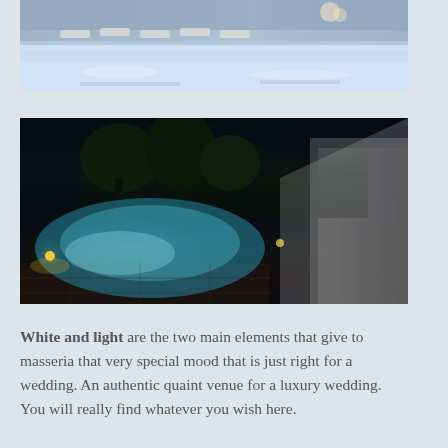[Figure (photo): Daytime photo of a luxury hotel pool area with loungers, chandelier and glass walls visible in the background, light blue pool water in the foreground]
[Figure (photo): Nighttime photo of an outdoor swimming pool at a masseria, illuminated with blue underwater lights surrounded by dark trees and a stone wall with dramatic lighting]
White and light are the two main elements that give to masseria that very special mood that is just right for a wedding. An authentic quaint venue for a luxury wedding. You will really find whatever you wish here.